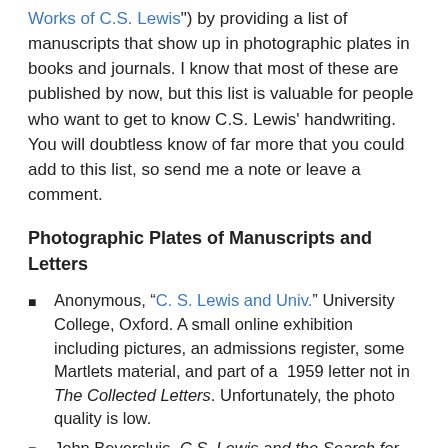Works of C.S. Lewis") by providing a list of manuscripts that show up in photographic plates in books and journals. I know that most of these are published by now, but this list is valuable for people who want to get to know C.S. Lewis' handwriting. You will doubtless know of far more that you could add to this list, so send me a note or leave a comment.
Photographic Plates of Manuscripts and Letters
Anonymous, “C. S. Lewis and Univ.” University College, Oxford. A small online exhibition including pictures, an admissions register, some Martlets material, and part of a 1959 letter not in The Collected Letters. Unfortunately, the photo quality is low.
John Beversluis, C.S. Lewis and the Search for Rational Religion (Rev. ed.; Prometheus, 2007), pp.